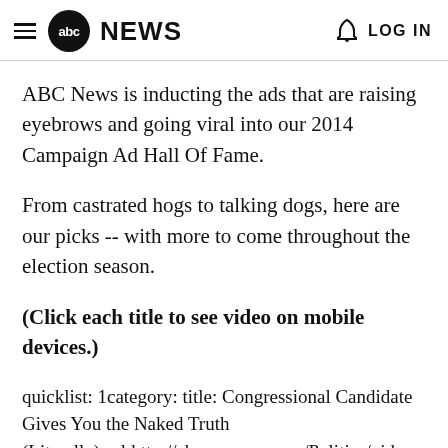abc NEWS   LOG IN
ABC News is inducting the ads that are raising eyebrows and going viral into our 2014 Campaign Ad Hall Of Fame.
From castrated hogs to talking dogs, here are our picks -- with more to come throughout the election season.
(Click each title to see video on mobile devices.)
quicklist: 1category: title: Congressional Candidate Gives You the Naked Truth (Literally).url:http://abcnews.go.com/Politics/vide